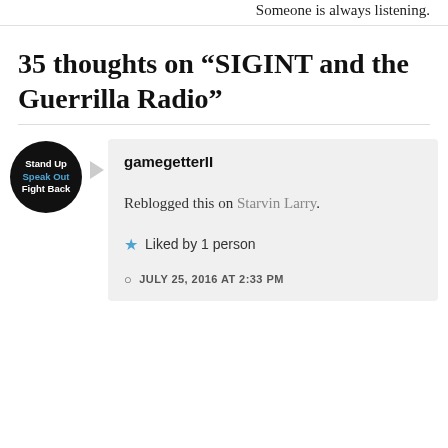Someone is always listening.
35 thoughts on “SIGINT and the Guerrilla Radio”
[Figure (logo): Black circular avatar with text: Stand Up Speak Out Fight Back in white and blue]
gamegetterII
Reblogged this on Starvin Larry.
Liked by 1 person
JULY 25, 2016 AT 2:33 PM